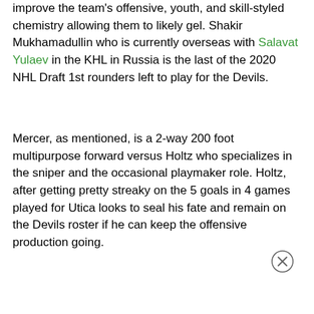improve the team's offensive, youth, and skill-styled chemistry allowing them to likely gel. Shakir Mukhamadullin who is currently overseas with Salavat Yulaev in the KHL in Russia is the last of the 2020 NHL Draft 1st rounders left to play for the Devils.
Mercer, as mentioned, is a 2-way 200 foot multipurpose forward versus Holtz who specializes in the sniper and the occasional playmaker role. Holtz, after getting pretty streaky on the 5 goals in 4 games played for Utica looks to seal his fate and remain on the Devils roster if he can keep the offensive production going.